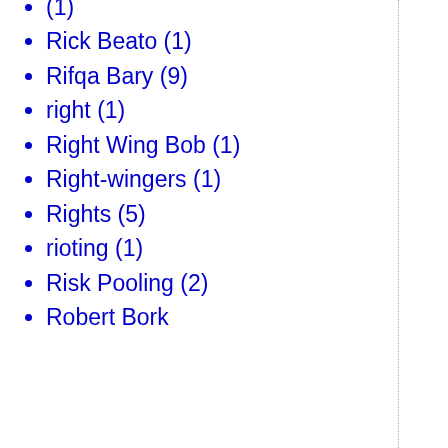(1)
Rick Beato (1)
Rifqa Bary (9)
right (1)
Right Wing Bob (1)
Right-wingers (1)
Rights (5)
rioting (1)
Risk Pooling (2)
Robert Bork